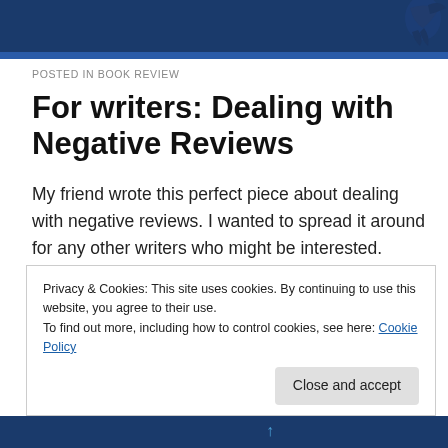POSTED IN BOOK REVIEW
For writers: Dealing with Negative Reviews
My friend wrote this perfect piece about dealing with negative reviews. I wanted to spread it around for any other writers who might be interested.
Privacy & Cookies: This site uses cookies. By continuing to use this website, you agree to their use.
To find out more, including how to control cookies, see here: Cookie Policy
Close and accept